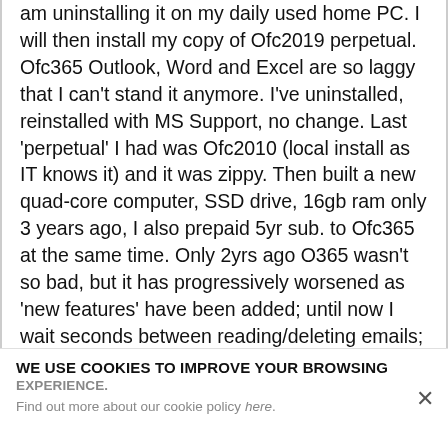am uninstalling it on my daily used home PC. I will then install my copy of Ofc2019 perpetual. Ofc365 Outlook, Word and Excel are so laggy that I can't stand it anymore. I've uninstalled, reinstalled with MS Support, no change. Last 'perpetual' I had was Ofc2010 (local install as IT knows it) and it was zippy. Then built a new quad-core computer, SSD drive, 16gb ram only 3 years ago, I also prepaid 5yr sub. to Ofc365 at the same time. Only 2yrs ago O365 wasn't so bad, but it has progressively worsened as 'new features' have been added; until now I wait seconds between reading/deleting emails; updating pivot tables in excel, etc. Ugh. All in the name of
WE USE COOKIES TO IMPROVE YOUR BROWSING EXPERIENCE. Find out more about our cookie policy here.